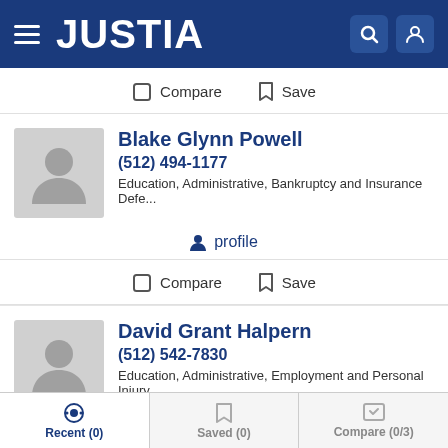JUSTIA
Compare   Save
Blake Glynn Powell
(512) 494-1177
Education, Administrative, Bankruptcy and Insurance Defe...
profile
Compare   Save
David Grant Halpern
(512) 542-7830
Education, Administrative, Employment and Personal Injury
Recent (0)   Saved (0)   Compare (0/3)